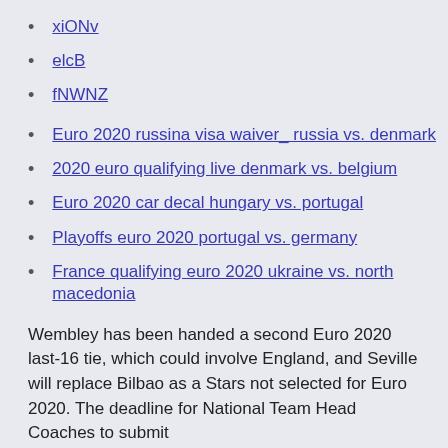xiONv
elcB
fNWNZ
Euro 2020 russina visa waiver_ russia vs. denmark
2020 euro qualifying live denmark vs. belgium
Euro 2020 car decal hungary vs. portugal
Playoffs euro 2020 portugal vs. germany
France qualifying euro 2020 ukraine vs. north macedonia
Wembley has been handed a second Euro 2020 last-16 tie, which could involve England, and Seville will replace Bilbao as a Stars not selected for Euro 2020. The deadline for National Team Head Coaches to submit